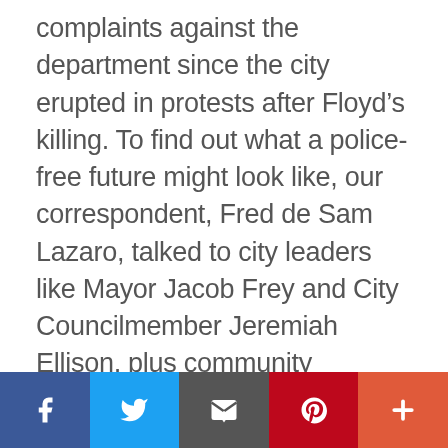complaints against the department since the city erupted in protests after Floyd's killing. To find out what a police-free future might look like, our correspondent, Fred de Sam Lazaro, talked to city leaders like Mayor Jacob Frey and City Councilmember Jeremiah Ellison, plus community members like Tyrone Hartwell of the Minnesota Freedom Fighters and Lisa Clemons of A Mother's Love.
Social share bar: Facebook, Twitter, Email, Pinterest, More